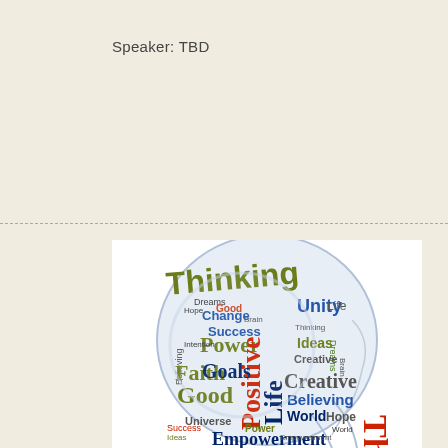Speaker: TBD
[Figure (illustration): Word cloud in the shape of a human head profile (side view). Words include: Thinking, Change, Dreams, Hope, Good, Power, Brain, Unity, Life, Dreams, Thinking, Ideas, Creative, Success, Believing, Intention, Faith, Good, Goals, Positive, Creative, Believing, World, Hope, Empowerment, Thought, Universe, Ideas, Success, Brain, Empowerment]